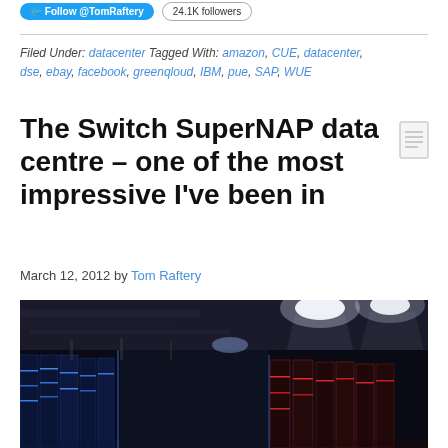Follow @TomRaftery  24.1K followers
Filed Under: datacenter Tagged With: amazon, CUE, datacenter, dse, ebay, facebook, greenqloud, IBM, pue, SAP, WUE
The Switch SuperNAP data centre – one of the most impressive I've been in
March 12, 2012 by Tom Raftery
[Figure (photo): Interior of the Switch SuperNAP data centre showing server racks with blue and red lighting, overhead cables and bright lights illuminating the facility.]